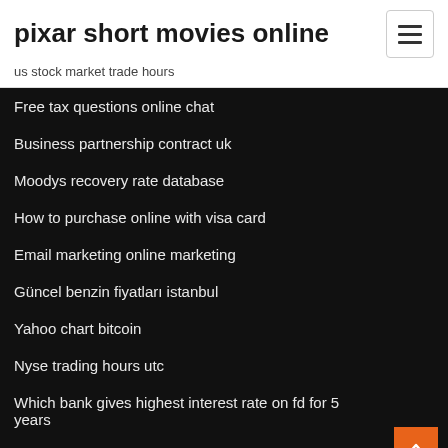pixar short movies online
us stock market trade hours
Free tax questions online chat
Business partnership contract uk
Moodys recovery rate database
How to purchase online with visa card
Email marketing online marketing
Güncel benzin fiyatları istanbul
Yahoo chart bitcoin
Nyse trading hours utc
Which bank gives highest interest rate on fd for 5 years
Average silver production cost